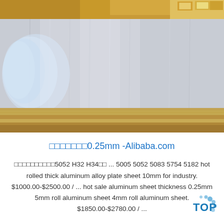[Figure (photo): Photo of stacked aluminum alloy sheets/plates with metallic silver surface, partially wrapped in plastic on the left side, with golden/brass colored packaging material visible at top and bottom edges]
□□□□□□□0.25mm -Alibaba.com
□□□□□□□□□□5052 H32 H34□□ ... 5005 5052 5083 5754 5182 hot rolled thick aluminum alloy plate sheet 10mm for industry. $1000.00-$2500.00 / ... hot sale aluminum sheet thickness 0.25mm 5mm roll aluminum sheet 4mm roll aluminum sheet. $1850.00-$2780.00 / ...